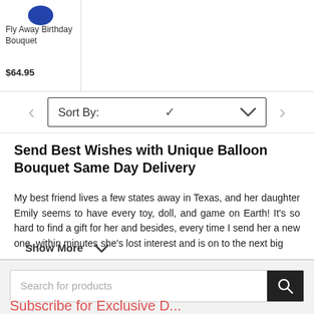[Figure (illustration): Blue balloon bouquet product image partially visible at top]
Fly Away Birthday Bouquet
$64.95
Sort By:
Send Best Wishes with Unique Balloon Bouquet Same Day Delivery
My best friend lives a few states away in Texas, and her daughter Emily seems to have every toy, doll, and game on Earth! It's so hard to find a gift for her and besides, every time I send her a new one, within minutes she's lost interest and is on to the next big
Show More
Search for products
Subscribe for Exclusive D...